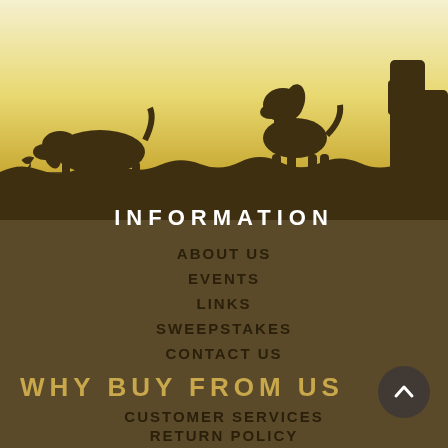[Figure (illustration): Silhouette illustration of two hunting dogs and a hunter (person) against a warm yellow-to-brown gradient background, with a grass/ground line separating the sky from the lower dark brown section.]
INFORMATION
ABOUT US
EVENTS
LINKS
SWEEPSTAKES
CONTACT US
WHY BUY FROM US
CUSTOMER SERVICES
RETURN POLICY